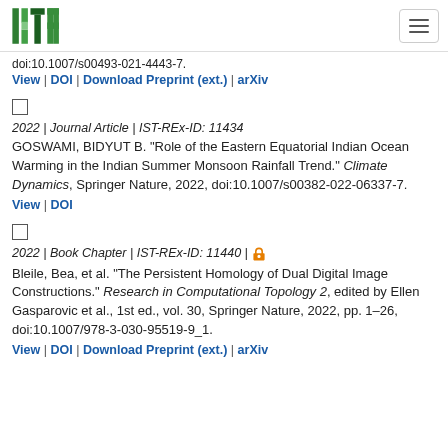ISTA logo and navigation
doi:10.1007/s00493-021-4443-7.
View | DOI | Download Preprint (ext.) | arXiv
2022 | Journal Article | IST-REx-ID: 11434
GOSWAMI, BIDYUT B. "Role of the Eastern Equatorial Indian Ocean Warming in the Indian Summer Monsoon Rainfall Trend." Climate Dynamics, Springer Nature, 2022, doi:10.1007/s00382-022-06337-7.
View | DOI
2022 | Book Chapter | IST-REx-ID: 11440 |
Bleile, Bea, et al. "The Persistent Homology of Dual Digital Image Constructions." Research in Computational Topology 2, edited by Ellen Gasparovic et al., 1st ed., vol. 30, Springer Nature, 2022, pp. 1–26, doi:10.1007/978-3-030-95519-9_1.
View | DOI | Download Preprint (ext.) | arXiv